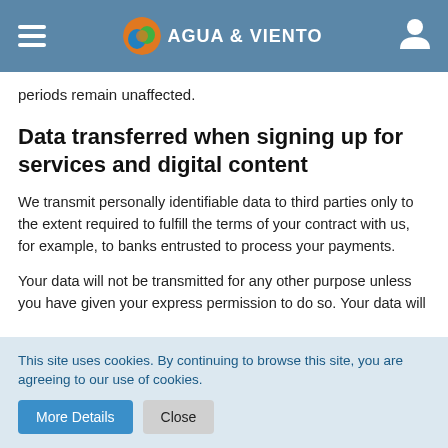AGUA & VIENTO
periods remain unaffected.
Data transferred when signing up for services and digital content
We transmit personally identifiable data to third parties only to the extent required to fulfill the terms of your contract with us, for example, to banks entrusted to process your payments.
Your data will not be transmitted for any other purpose unless you have given your express permission to do so. Your data will not be disclosed to third parties for advertising purposes without your express consent.
The basis for data processing is Art. 6 (1) (b) GDPR, which allows
This site uses cookies. By continuing to browse this site, you are agreeing to our use of cookies.